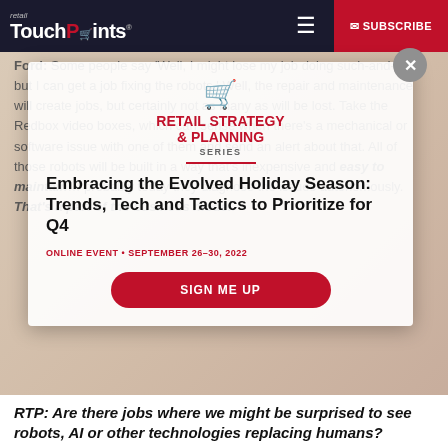retail TouchPoints | SUBSCRIBE
Ford: Some people say 'Well, I might lose my job doing such-and-such, but I can get a job fixing the robots.' Well, the repair and maintenance will create jobs, but certainly not as many as will be lost. Take the Redbox video boxes, which can sense when there's a mechanical or software issue with one of them and send an alert about that. All of those robots will be built in a way that's inexpensive and easy to maintain… probably today they diagnose the issues autonomously. That's a part of the business model.
[Figure (screenshot): Modal popup for Retail Strategy & Planning Series event: Embracing the Evolved Holiday Season: Trends, Tech and Tactics to Prioritize for Q4. Online Event September 26-30, 2022. Sign Me Up button.]
RTP: Are there jobs where we might be surprised to see robots, AI or other technologies replacing humans?